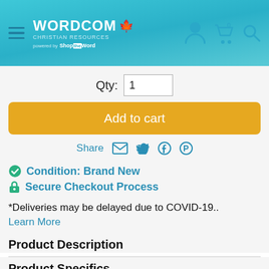[Figure (screenshot): Wordcom Christian Resources website header with logo, hamburger menu, and icons for account, cart, and search]
Qty: 1
Add to cart
Share
✔ Condition: Brand New
🔒 Secure Checkout Process
*Deliveries may be delayed due to COVID-19..
Learn More
Product Description
Product Specifics
| Item ID | 797245 |
| --- | --- |